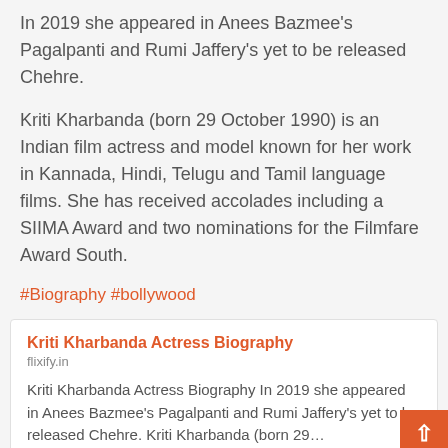In 2019 she appeared in Anees Bazmee's Pagalpanti and Rumi Jaffery's yet to be released Chehre.
Kriti Kharbanda (born 29 October 1990) is an Indian film actress and model known for her work in Kannada, Hindi, Telugu and Tamil language films. She has received accolades including a SIIMA Award and two nominations for the Filmfare Award South.
#Biography #bollywood
Kriti Kharbanda Actress Biography
flixify.in
Kriti Kharbanda Actress Biography In 2019 she appeared in Anees Bazmee's Pagalpanti and Rumi Jaffery's yet to be released Chehre. Kriti Kharbanda (born 29…